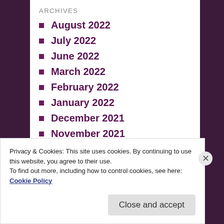ARCHIVES
August 2022
July 2022
June 2022
March 2022
February 2022
January 2022
December 2021
November 2021
October 2021
September 2021
August 2021
July 2021
June 2021
Privacy & Cookies: This site uses cookies. By continuing to use this website, you agree to their use.
To find out more, including how to control cookies, see here: Cookie Policy
Close and accept